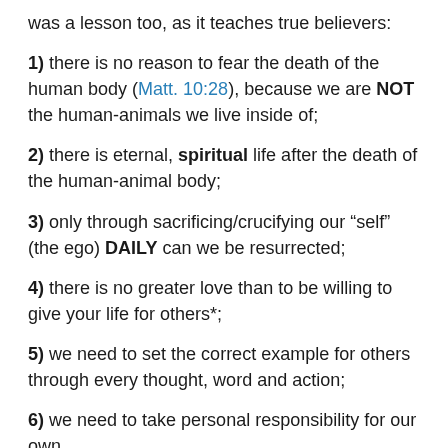was a lesson too, as it teaches true believers:
1) there is no reason to fear the death of the human body (Matt. 10:28), because we are NOT the human-animals we live inside of;
2) there is eternal, spiritual life after the death of the human-animal body;
3) only through sacrificing/crucifying our “self” (the ego) DAILY can we be resurrected;
4) there is no greater love than to be willing to give your life for others*;
5) we need to set the correct example for others through every thought, word and action;
6) we need to take personal responsibility for our own